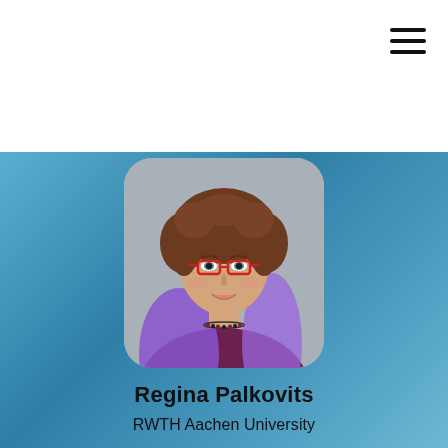[Figure (photo): Profile photo of Regina Palkovits, a woman with curly brown hair, red-framed glasses, wearing a purple/maroon top with a purple scarf and beaded necklace, against a grey background]
Regina Palkovits
RWTH Aachen University